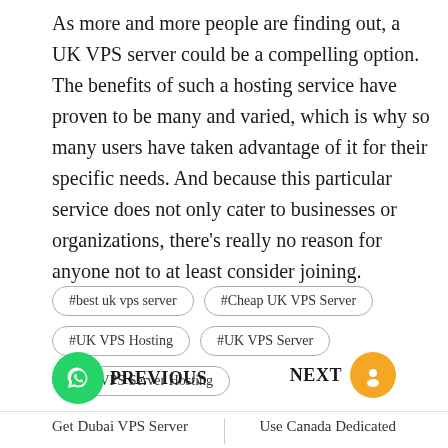As more and more people are finding out, a UK VPS server could be a compelling option. The benefits of such a hosting service have proven to be many and varied, which is why so many users have taken advantage of it for their specific needs. And because this particular service does not only cater to businesses or organizations, there's really no reason for anyone not to at least consider joining.
#best uk vps server
#Cheap UK VPS Server
#UK VPS Hosting
#UK VPS Server
#UK VPS Server Hosting
PREVIOUS   Get Dubai VPS Server  |  Use Canada Dedicated   NEXT